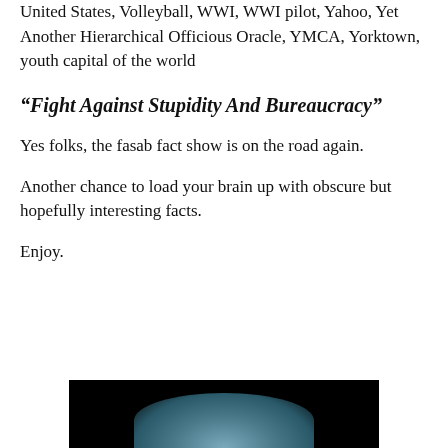United States, Volleyball, WWI, WWI pilot, Yahoo, Yet Another Hierarchical Officious Oracle, YMCA, Yorktown, youth capital of the world
“Fight Against Stupidity And Bureaucracy”
Yes folks, the fasab fact show is on the road again.
Another chance to load your brain up with obscure but hopefully interesting facts.
Enjoy.
[Figure (photo): Partial image at bottom of page showing what appears to be a person or figure against a black background, cropped at the bottom edge of the page.]